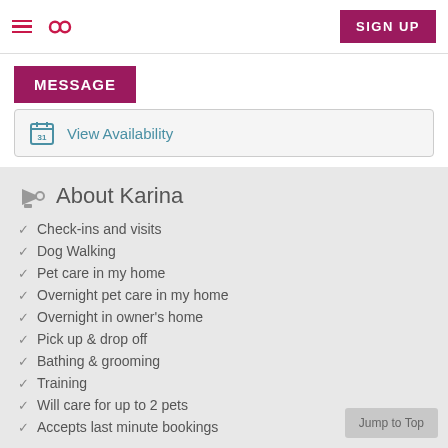≡  ∞  SIGN UP
MESSAGE
View Availability
About Karina
Check-ins and visits
Dog Walking
Pet care in my home
Overnight pet care in my home
Overnight in owner's home
Pick up & drop off
Bathing & grooming
Training
Will care for up to 2 pets
Accepts last minute bookings
Jump to Top